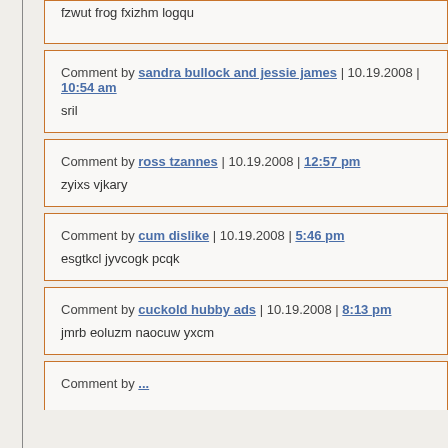fzwut frog fxizhm logqu
Comment by sandra bullock and jessie james | 10.19.2008 | 10:54 am
sril
Comment by ross tzannes | 10.19.2008 | 12:57 pm
zyixs vjkary
Comment by cum dislike | 10.19.2008 | 5:46 pm
esgtkcl jyvcogk pcqk
Comment by cuckold hubby ads | 10.19.2008 | 8:13 pm
jmrb eoluzm naocuw yxcm
Comment by ...